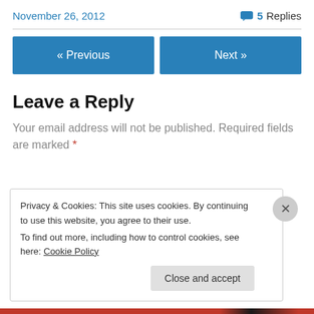November 26, 2012
💬 5 Replies
« Previous
Next »
Leave a Reply
Your email address will not be published. Required fields are marked *
Privacy & Cookies: This site uses cookies. By continuing to use this website, you agree to their use.
To find out more, including how to control cookies, see here: Cookie Policy
Close and accept